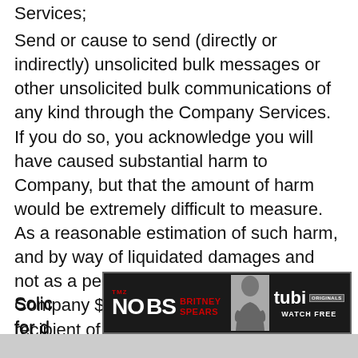Services;
Send or cause to send (directly or indirectly) unsolicited bulk messages or other unsolicited bulk communications of any kind through the Company Services. If you do so, you acknowledge you will have caused substantial harm to Company, but that the amount of harm would be extremely difficult to measure. As a reasonable estimation of such harm, and by way of liquidated damages and not as a penalty, you agree to pay Company $50 for each actual or intended recipient of such communication;
Solicit... ...tion for d...
[Figure (screenshot): Advertisement banner for TMZ 'No BS Britney Spears' show on Tubi Originals, with Watch Free text, showing a photo of Britney Spears]